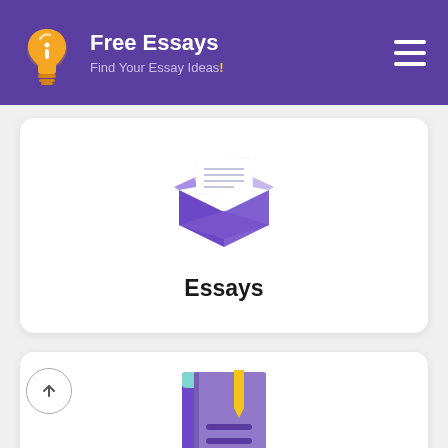Free Essays — Find Your Essay Ideas!
[Figure (illustration): Purple open box icon with white stacked papers coming out of the top]
Essays
[Figure (illustration): Book icon with teal cover, purple spine and bookmark ribbon, and two horizontal lines on the cover]
[Figure (other): Back-to-top circle button with upward arrow]